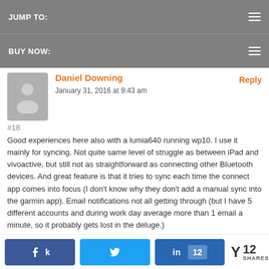JUMP TO:
BUY NOW:
Daniel Downing
January 31, 2016 at 9:43 am
Reply
#18
Good experiences here also with a lumia640 running wp10. I use it mainly for syncing. Not quite same level of struggle as between iPad and vivoactive, but still not as straightforward as connecting other Bluetooth devices. And great feature is that it tries to sync each time the connect app comes into focus (I don't know why they don't add a manual sync into the garmin app). Email notifications not all getting through (but I have 5 different accounts and during work day average more than 1 email a minute, so it probably gets lost in the deluge.)
12 SHARES